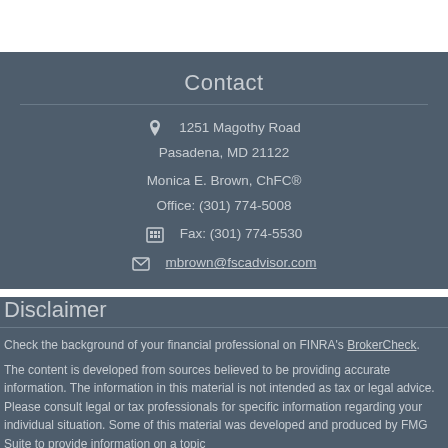Contact
1251 Magothy Road
Pasadena, MD 21122

Monica E. Brown, ChFC®
Office: (301) 774-5008

Fax: (301) 774-5530

mbrown@fscadvisor.com
Disclaimer
Check the background of your financial professional on FINRA's BrokerCheck.

The content is developed from sources believed to be providing accurate information. The information in this material is not intended as tax or legal advice. Please consult legal or tax professionals for specific information regarding your individual situation. Some of this material was developed and produced by FMG Suite to provide information on a topic